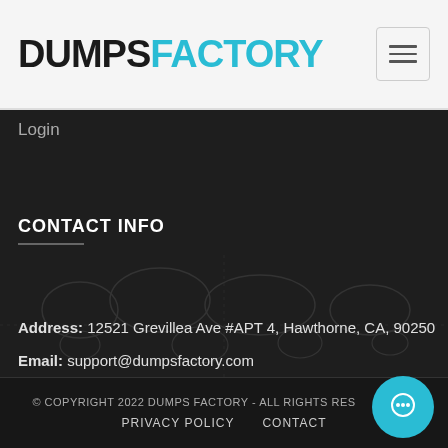DUMPSFACTORY
Login
CONTACT INFO
Address: 12521 Grevillea Ave #APT 4, Hawthorne, CA, 90250
Email: support@dumpsfactory.com
Website: www.dumpsfactory.com
© COPYRIGHT 2022 DUMPS FACTORY - ALL RIGHTS RESERVED
PRIVACY POLICY   CONTACT